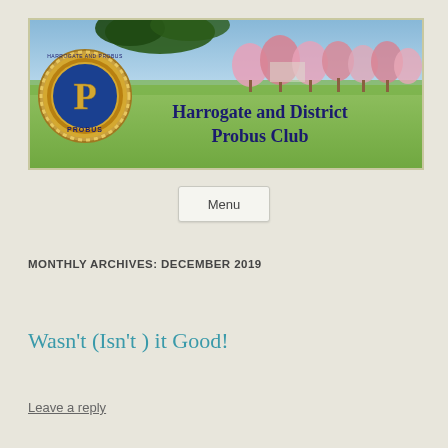[Figure (illustration): Banner image for Harrogate and District Probus Club showing a landscape with green grass, pink flowering trees, blue sky, and a circular Probus club logo/badge on the left side. Text overlay reads 'Harrogate and District Probus Club' in dark blue bold serif font.]
Menu
MONTHLY ARCHIVES: DECEMBER 2019
Wasn't (Isn't ) it Good!
Leave a reply